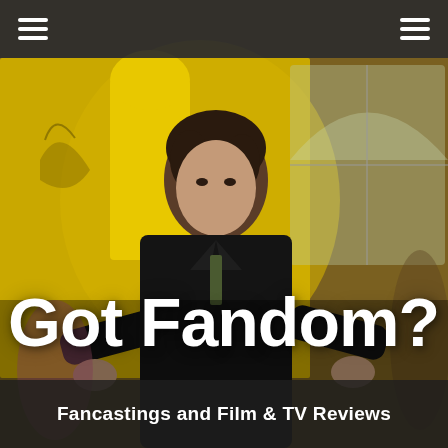[Figure (photo): A man in a dark suit with curly dark hair, pointing toward the camera with both hands in a scene with a yellow wall background and arched window. Screenshot from a TV show (Sherlock).]
Got Fandom?
Fancastings and Film & TV Reviews